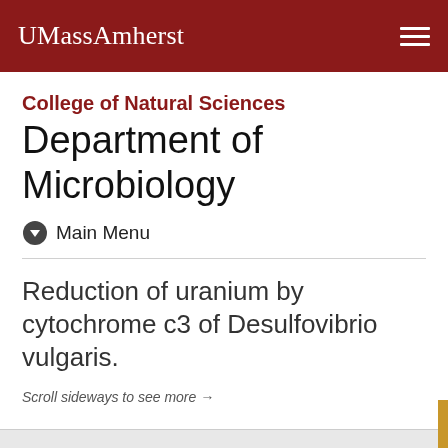UMassAmherst
College of Natural Sciences
Department of Microbiology
Main Menu
Reduction of uranium by cytochrome c3 of Desulfovibrio vulgaris.
Scroll sideways to see more →